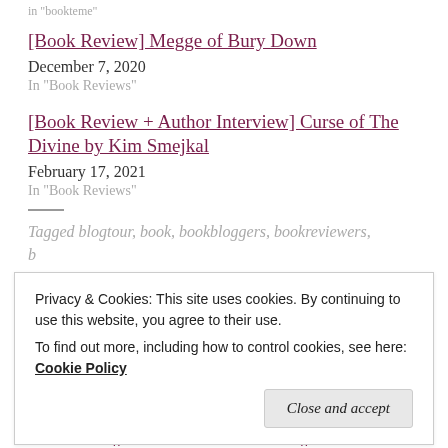in "bookteme"
[Book Review] Megge of Bury Down
December 7, 2020
In "Book Reviews"
[Book Review + Author Interview] Curse of The Divine by Kim Smejkal
February 17, 2021
In "Book Reviews"
Tagged blogtour, book, bookbloggers, bookreviewers,
Privacy & Cookies: This site uses cookies. By continuing to use this website, you agree to their use.
To find out more, including how to control cookies, see here: Cookie Policy
Close and accept
ENOUGH || A WEEK IN WORDS || POST 6